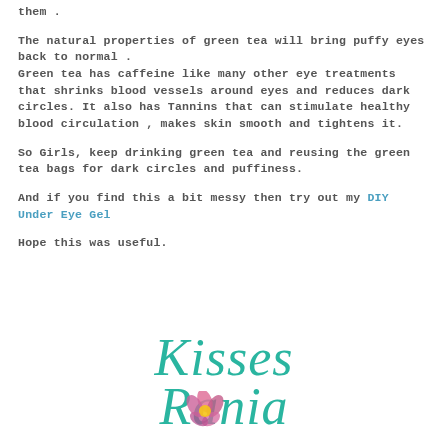them .
The natural properties of green tea will bring puffy eyes back to normal . Green tea has caffeine like many other eye treatments that shrinks blood vessels around eyes and reduces dark circles. It also has Tannins that can stimulate healthy blood circulation , makes skin smooth and tightens it.
So Girls, keep drinking green tea and reusing the green tea bags for dark circles and puffiness.
And if you find this a bit messy then try out my DIY Under Eye Gel
Hope this was useful.
[Figure (illustration): Cursive signature text reading 'Kisses' in teal/turquoise script font, followed by partial 'Rania' or similar name in same style, with decorative flower illustration in pink/purple at bottom right]